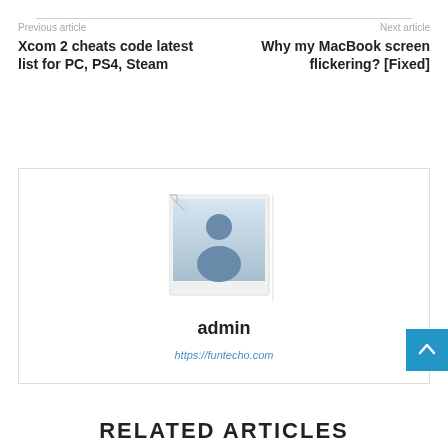Previous article
Xcom 2 cheats code latest list for PC, PS4, Steam
Next article
Why my MacBook screen flickering? [Fixed]
[Figure (illustration): Author avatar placeholder image showing a generic user silhouette in blue-grey tones, styled as a polaroid photo]
admin
https://funtecho.com
RELATED ARTICLES